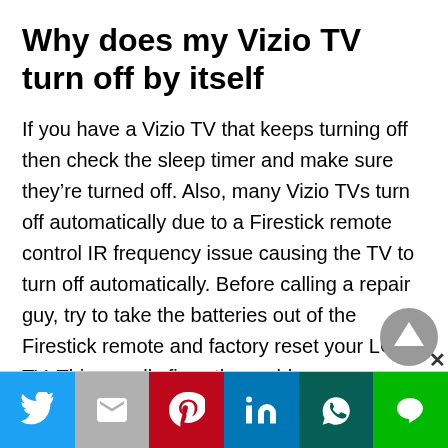Why does my Vizio TV turn off by itself
If you have a Vizio TV that keeps turning off then check the sleep timer and make sure they're turned off. Also, many Vizio TVs turn off automatically due to a Firestick remote control IR frequency issue causing the TV to turn off automatically. Before calling a repair guy, try to take the batteries out of the Firestick remote and factory reset your LG TV. This usually fixes the problem.